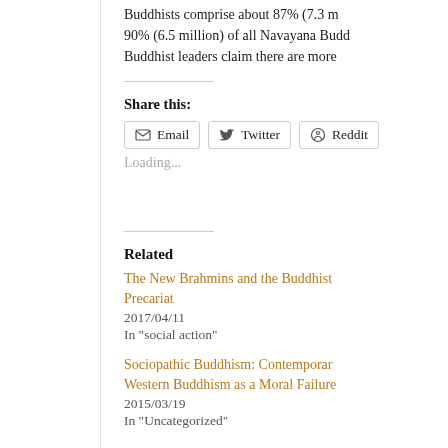Buddhists comprise about 87% (7.3 m... 90% (6.5 million) of all Navayana Budd... Buddhist leaders claim there are more...
Share this:
Loading...
Related
The New Brahmins and the Buddhist Precariat
2017/04/11
In "social action"
Sociopathic Buddhism: Contemporary Western Buddhism as a Moral Failure
2015/03/19
In "Uncategorized"